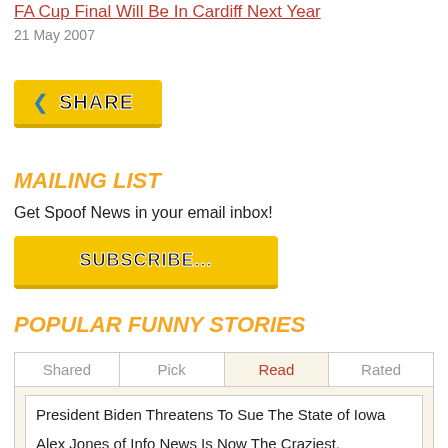FA Cup Final Will Be In Cardiff Next Year
21 May 2007
[Figure (other): Yellow SHARE button with blue share icon and bold black text]
MAILING LIST
Get Spoof News in your email inbox!
[Figure (other): Yellow SUBSCRIBE... button with bold black text]
POPULAR FUNNY STORIES
| Shared | Pick | Read | Rated |
| --- | --- | --- | --- |
President Biden Threatens To Sue The State of Iowa
Alex Jones of Info News Is Now The Craziest,